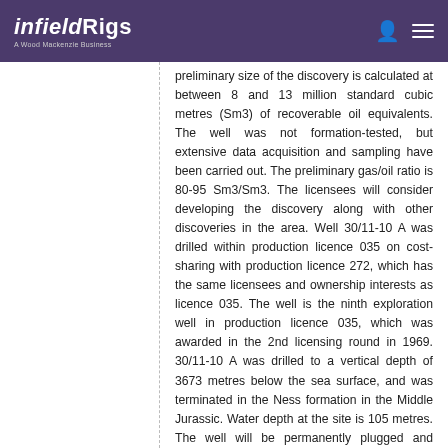infieldRigs — A Wood Mackenzie Business
preliminary size of the discovery is calculated at between 8 and 13 million standard cubic metres (Sm3) of recoverable oil equivalents. The well was not formation-tested, but extensive data acquisition and sampling have been carried out. The preliminary gas/oil ratio is 80-95 Sm3/Sm3. The licensees will consider developing the discovery along with other discoveries in the area. Well 30/11-10 A was drilled within production licence 035 on cost-sharing with production licence 272, which has the same licensees and ownership interests as licence 035. The well is the ninth exploration well in production licence 035, which was awarded in the 2nd licensing round in 1969. 30/11-10 A was drilled to a vertical depth of 3673 metres below the sea surface, and was terminated in the Ness formation in the Middle Jurassic. Water depth at the site is 105 metres. The well will be permanently plugged and abandoned. Well 30/11-10 A was drilled with the Transocean Leader drilling facility, which has thus